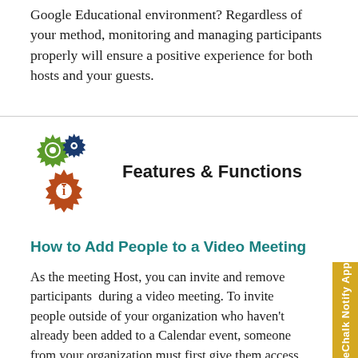Google Educational environment? Regardless of your method, monitoring and managing participants properly will ensure a positive experience for both hosts and your guests.
[Figure (illustration): Three overlapping gear icons (green, dark blue, orange/red with info symbol) representing features and functions]
Features & Functions
How to Add People to a Video Meeting
As the meeting Host, you can invite and remove participants  during a video meeting. To invite people outside of your organization who haven't already been added to a Calendar event, someone from your organization must first give them access to the meeting.